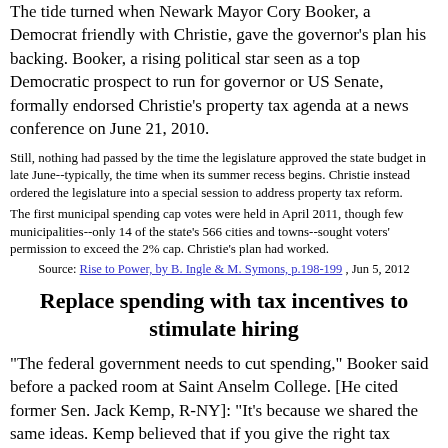The tide turned when Newark Mayor Cory Booker, a Democrat friendly with Christie, gave the governor's plan his backing. Booker, a rising political star seen as a top Democratic prospect to run for governor or US Senate, formally endorsed Christie's property tax agenda at a news conference on June 21, 2010.
Still, nothing had passed by the time the legislature approved the state budget in late June--typically, the time when its summer recess begins. Christie instead ordered the legislature into a special session to address property tax reform.
The first municipal spending cap votes were held in April 2011, though few municipalities--only 14 of the state's 566 cities and towns--sought voters' permission to exceed the 2% cap. Christie's plan had worked.
Source: Rise to Power, by B. Ingle & M. Symons, p.198-199 , Jun 5, 2012
Replace spending with tax incentives to stimulate hiring
"The federal government needs to cut spending," Booker said before a packed room at Saint Anselm College. [He cited former Sen. Jack Kemp, R-NY]: "It's because we shared the same ideas. Kemp believed that if you give the right tax incentives in urban areas, you create opportunity."
Booker said Obama is introducing policies similar to Kemp's, such as tax incentives for businesses that reinvest in the economy. "Over the last 3-plus years [Obama] has cut taxes on small businesses 17 times," Booker said. "Giving businesses tax incentives to hire people coming back from Iraq and Afghanistan; ideas that to me seem like every American, regardless of your party, should stand up and cheer."